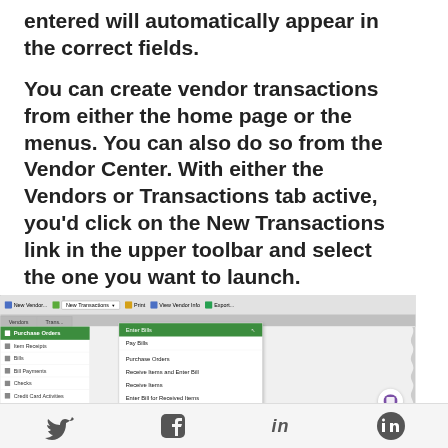entered will automatically appear in the correct fields.
You can create vendor transactions from either the home page or the menus. You can also do so from the Vendor Center. With either the Vendors or Transactions tab active, you'd click on the New Transactions link in the upper toolbar and select the one you want to launch.
[Figure (screenshot): QuickBooks Vendor Center screenshot showing the New Transactions dropdown menu open with options: Enter Bills (highlighted), Pay Bills, Purchase Orders, Receive Items and Enter Bill, Receive Items, Enter Bill for Received Items. The sidebar shows: Purchase Orders (active/green), Item Receipts, Bills, Bill Payments, Checks, Credit Card Activities.]
Twitter  Facebook  LinkedIn  (chat icon)